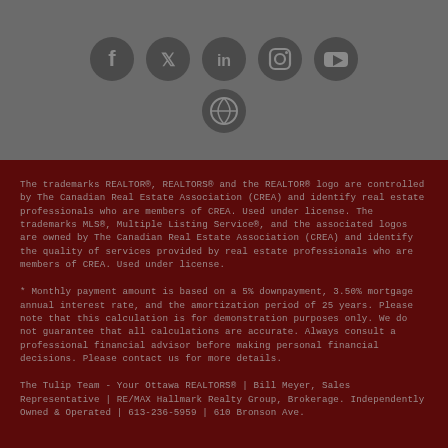[Figure (illustration): Social media icons row: Facebook, Twitter, LinkedIn, Instagram, YouTube in dark circle buttons on gray background, with a WordPress icon on a second row below]
The trademarks REALTOR®, REALTORS® and the REALTOR® logo are controlled by The Canadian Real Estate Association (CREA) and identify real estate professionals who are members of CREA. Used under license. The trademarks MLS®, Multiple Listing Service®, and the associated logos are owned by The Canadian Real Estate Association (CREA) and identify the quality of services provided by real estate professionals who are members of CREA. Used under license.
* Monthly payment amount is based on a 5% downpayment, 3.50% mortgage annual interest rate, and the amortization period of 25 years. Please note that this calculation is for demonstration purposes only. We do not guarantee that all calculations are accurate. Always consult a professional financial advisor before making personal financial decisions. Please contact us for more details.
The Tulip Team - Your Ottawa REALTORS® | Bill Meyer, Sales Representative | RE/MAX Hallmark Realty Group, Brokerage. Independently Owned & Operated | 613-236-5959 | 610 Bronson Ave.